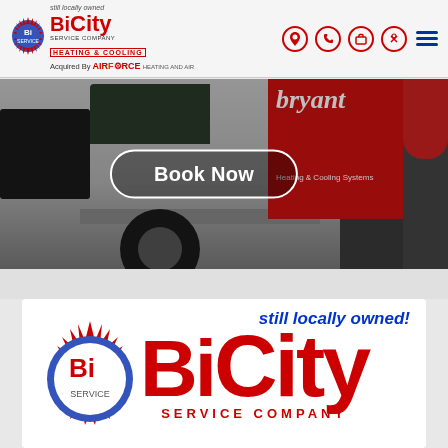[Figure (screenshot): Bi City Service Company website header with logo, navigation icons, hero photo of a Bryant branded HVAC service van with 'Book Now' button overlay, and a lower logo card showing 'still locally owned!' and large 'Bi City SERVICE COMPANY' text]
Bi City Service Company - Heating & Cooling
still locally owned!
Bi City SERVICE COMPANY
Book Now
Acquired By AIRFORCE HEATING AND AIR